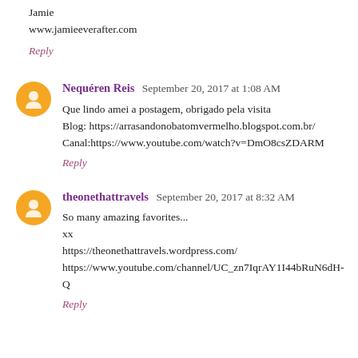Jamie
www.jamieeverafter.com
Reply
Nequéren Reis  September 20, 2017 at 1:08 AM
Que lindo amei a postagem, obrigado pela visita
Blog: https://arrasandonobatomvermelho.blogspot.com.br/
Canal:https://www.youtube.com/watch?v=DmO8csZDARM
Reply
theonethattravels  September 20, 2017 at 8:32 AM
So many amazing favorites...
xx
https://theonethattravels.wordpress.com/
https://www.youtube.com/channel/UC_zn7IqrAY1I44bRuN6dH-Q
Reply